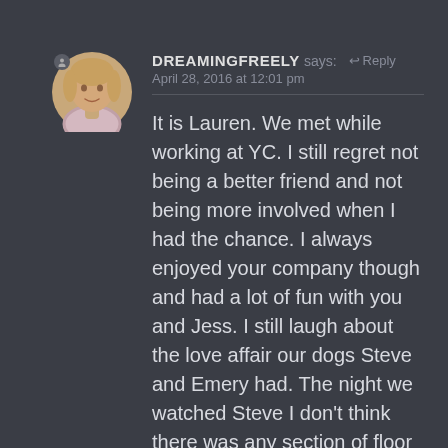[Figure (photo): Circular avatar photo of a woman with shoulder-length blonde hair wearing a striped top, with a small user icon badge in the top-left corner]
DREAMINGFREELY says: ↩ Reply
April 28, 2016 at 12:01 pm
It is Lauren. We met while working at YC. I still regret not being a better friend and not being more involved when I had the chance. I always enjoyed your company though and had a lot of fun with you and Jess. I still laugh about the love affair our dogs Steve and Emery had. The night we watched Steve I don't think there was any section of floor that wasn't covered in slobber. 🙂